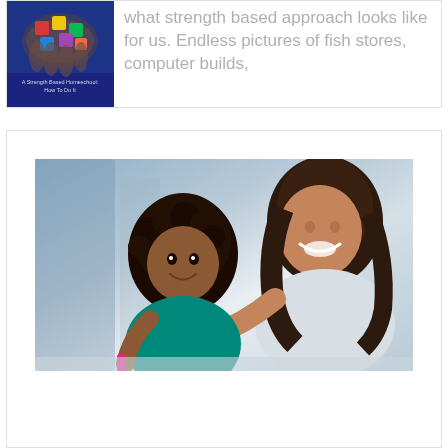[Figure (photo): Book cover for 'A Strength Based Homeschool: How To Do It' showing hands holding colorful puzzle pieces]
what strength based approach looks like for us. Endless pictures of fish stores, computer builds,
[Figure (photo): A smiling woman helping a young girl with an activity, both looking down at something they are working on together]